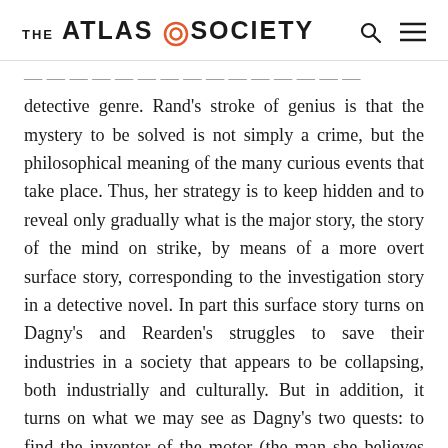THE ATLAS SOCIETY
detective genre. Rand's stroke of genius is that the mystery to be solved is not simply a crime, but the philosophical meaning of the many curious events that take place. Thus, her strategy is to keep hidden and to reveal only gradually what is the major story, the story of the mind on strike, by means of a more overt surface story, corresponding to the investigation story in a detective novel. In part this surface story turns on Dagny's and Rearden's struggles to save their industries in a society that appears to be collapsing, both industrially and culturally. But in addition, it turns on what we may see as Dagny's two quests: to find the inventor of the motor (the man she believes can save the world) and to stop the destroyer of the world (the man she believes is draining the world of its brain